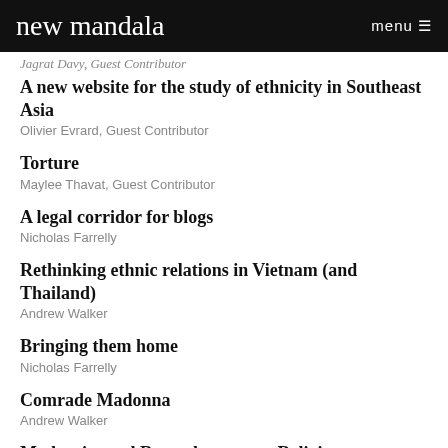new mandala   menu
Jagrat Davy, Guest Contributor
A new website for the study of ethnicity in Southeast Asia
Olivier Evrard, Guest Contributor
Torture
Maylee Thavat, Guest Contributor
A legal corridor for blogs
Nicholas Farrelly
Rethinking ethnic relations in Vietnam (and Thailand)
Andrew Walker
Bringing them home
Nicholas Farrelly
Comrade Madonna
Andrew Walker
Modernity and Re-enchantment: Religion